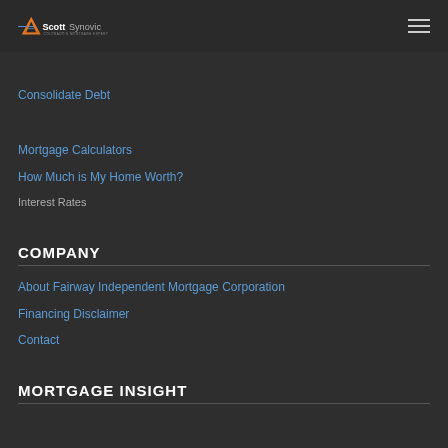ScottSynovic Colorado's Mortgage Expert
Consolidate Debt
Mortgage Calculators
How Much is My Home Worth?
Interest Rates
COMPANY
About Fairway Independent Mortgage Corporation
Financing Disclaimer
Contact
MORTGAGE INSIGHT